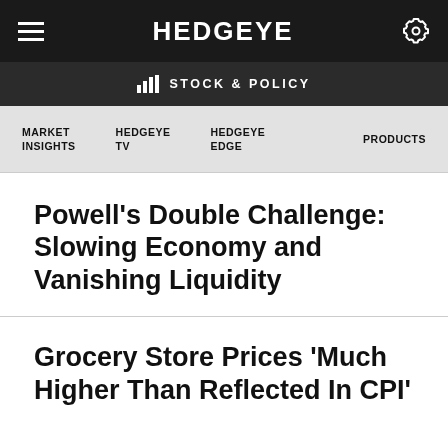HEDGEYE
STOCK & POLICY
MARKET INSIGHTS | HEDGEYE TV | HEDGEYE EDGE | PRODUCTS
Powell’s Double Challenge: Slowing Economy and Vanishing Liquidity
Grocery Store Prices ‘Much Higher Than Reflected In CPI’